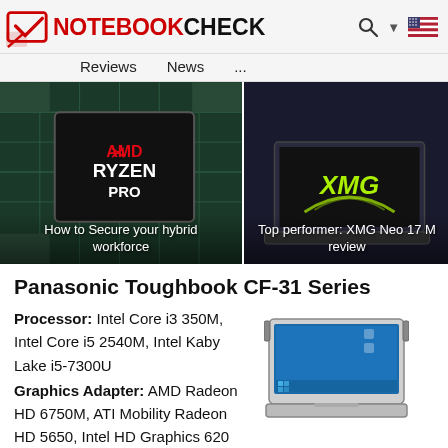NOTEBOOKCHECK
Reviews   News   ...
[Figure (photo): AMD Ryzen Pro processor chip close-up with caption 'How to Secure your hybrid workforce']
[Figure (photo): XMG Neo 17 laptop with green XMG logo and caption 'Top performer: XMG Neo 17 M review']
Panasonic Toughbook CF-31 Series
Processor: Intel Core i3 350M, Intel Core i5 2540M, Intel Kaby Lake i5-7300U
[Figure (photo): Panasonic Toughbook CF-31 rugged laptop product image]
Graphics Adapter: AMD Radeon HD 6750M, ATI Mobility Radeon HD 5650, Intel HD Graphics 620